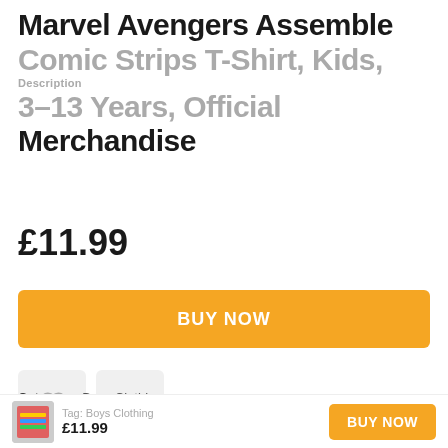Marvel Avengers Assemble Comic Strips T-Shirt, Kids, 3-13 Years, Official Merchandise
£11.99
BUY NOW
Category: Boys Clothing
Tag: Boys Clothing
£11.99
BUY NOW